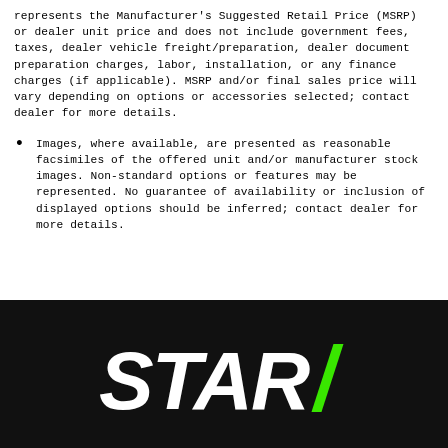represents the Manufacturer's Suggested Retail Price (MSRP) or dealer unit price and does not include government fees, taxes, dealer vehicle freight/preparation, dealer document preparation charges, labor, installation, or any finance charges (if applicable). MSRP and/or final sales price will vary depending on options or accessories selected; contact dealer for more details.
Images, where available, are presented as reasonable facsimiles of the offered unit and/or manufacturer stock images. Non-standard options or features may be represented. No guarantee of availability or inclusion of displayed options should be inferred; contact dealer for more details.
[Figure (logo): STAR logo in white stylized italic text on black background with a green accent slash]